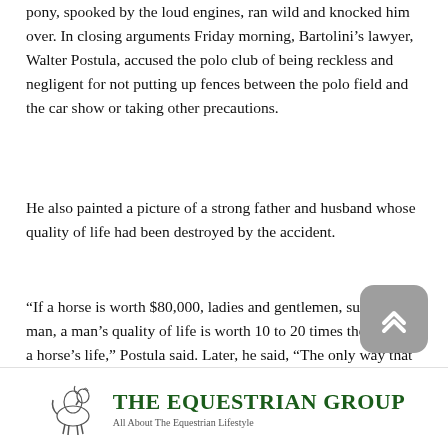pony, spooked by the loud engines, ran wild and knocked him over. In closing arguments Friday morning, Bartolini's lawyer, Walter Postula, accused the polo club of being reckless and negligent for not putting up fences between the polo field and the car show or taking other precautions.
He also painted a picture of a strong father and husband whose quality of life had been destroyed by the accident.
“If a horse is worth $80,000, ladies and gentlemen, surely a man, a man’s quality of life is worth 10 to 20 times the value of a horse’s life,” Postula said. Later, he said, “The only way that message will get to them is compensation.”
[Figure (logo): The Equestrian Group logo with a horse illustration on the left and bold green text reading THE EQUESTRIAN GROUP on the right]